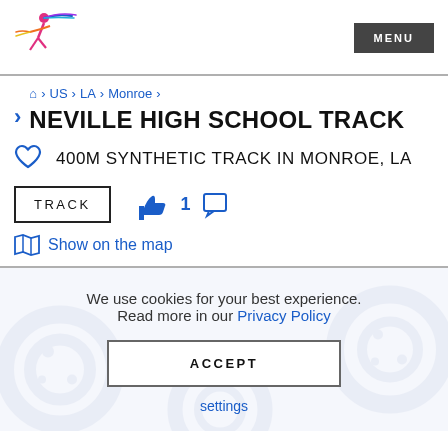[Figure (logo): Running figure logo with colorful streaks]
MENU
🏠 > US > LA > Monroe >
NEVILLE HIGH SCHOOL TRACK
400M SYNTHETIC TRACK IN MONROE, LA
TRACK  👍1 💬
Show on the map
We use cookies for your best experience. Read more in our Privacy Policy
ACCEPT
settings